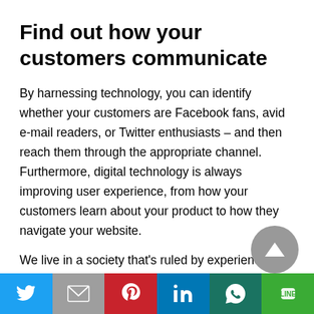Find out how your customers communicate
By harnessing technology, you can identify whether your customers are Facebook fans, avid e-mail readers, or Twitter enthusiasts – and then reach them through the appropriate channel. Furthermore, digital technology is always improving user experience, from how your customers learn about your product to how they navigate your website.
We live in a society that's ruled by experience; the
[Figure (other): Social sharing bar at bottom with Twitter, Gmail, Pinterest, LinkedIn, WhatsApp, and Line buttons]